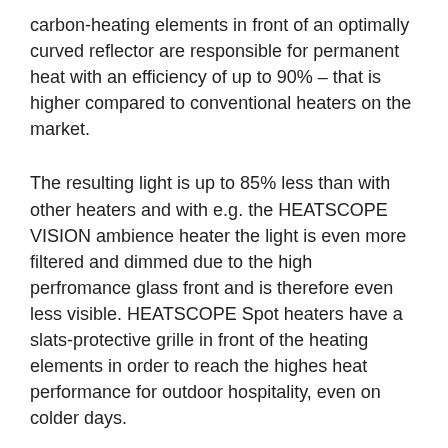carbon-heating elements in front of an optimally curved reflector are responsible for permanent heat with an efficiency of up to 90% – that is higher compared to conventional heaters on the market.
The resulting light is up to 85% less than with other heaters and with e.g. the HEATSCOPE VISION ambience heater the light is even more filtered and dimmed due to the high perfromance glass front and is therefore even less visible. HEATSCOPE Spot heaters have a slats-protective grille in front of the heating elements in order to reach the highes heat performance for outdoor hospitality, even on colder days.
We recommend for the professional usage in hospitality: